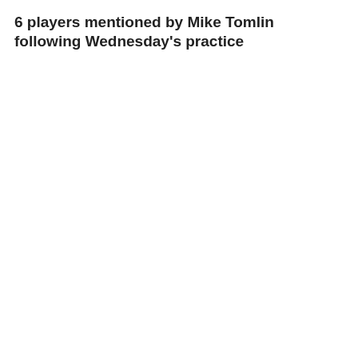6 players mentioned by Mike Tomlin following Wednesday’s practice